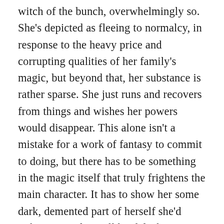witch of the bunch, overwhelmingly so. She's depicted as fleeing to normalcy, in response to the heavy price and corrupting qualities of her family's magic, but beyond that, her substance is rather sparse. She just runs and recovers from things and wishes her powers would disappear. This alone isn't a mistake for a work of fantasy to commit to doing, but there has to be something in the magic itself that truly frightens the main character. It has to show her some dark, demented part of herself she'd rather cower from all her life than see. Here, though, the fuzzy possibility of becoming like her mother is enough to drive Nor away. Away from what, it isn't really specified, because her Burden, as it appears for most of the book, is a dull thrum too